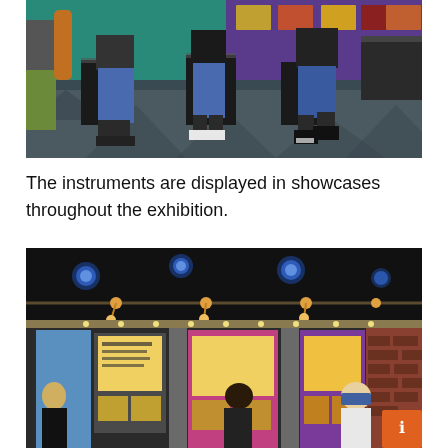[Figure (photo): Indoor museum exhibition hall with people wearing blue jeans walking among black display cases. Colorful walls with artwork/posters visible in background. Geometric patterned dark floor.]
The instruments are displayed in showcases throughout the exhibition.
[Figure (photo): Interior of a music exhibition venue with dark ceiling featuring blue circular lights, track lighting, colorful display panels on walls showing posters and informational boards, visitors browsing the exhibition. An orange button/badge visible in lower right corner.]